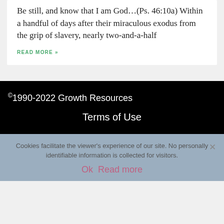Be still, and know that I am God…(Ps. 46:10a) Within a handful of days after their miraculous exodus from the grip of slavery, nearly two-and-a-half
READ MORE »
©1990-2022 Growth Resources
Terms of Use
Cookies facilitate the viewer's experience of our site. No personally identifiable information is collected for visitors.
Ok  Read more